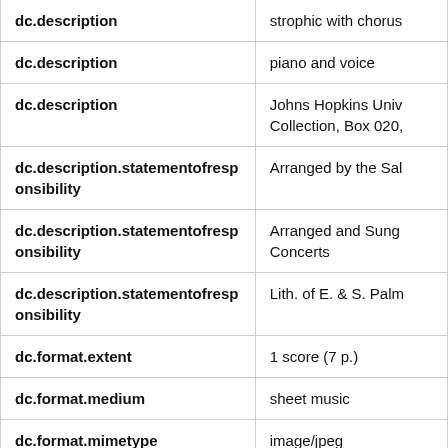| Field | Value |
| --- | --- |
| dc.description | strophic with chorus |
| dc.description | piano and voice |
| dc.description | Johns Hopkins Univ Collection, Box 020, |
| dc.description.statementofresponsibility | Arranged by the Sal |
| dc.description.statementofresponsibility | Arranged and Sung Concerts |
| dc.description.statementofresponsibility | Lith. of E. & S. Palm |
| dc.format.extent | 1 score (7 p.) |
| dc.format.medium | sheet music |
| dc.format.mimetype | image/jpeg |
| dc.publisher | Millets Music Saloor |
| dc.subject.other | Portraits |
| dc.subject.other | ... |